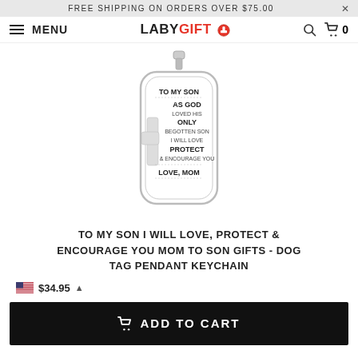FREE SHIPPING ON ORDERS OVER $75.00
MENU | LABYGIFT | Search | Cart 0
[Figure (photo): Dog tag pendant keychain with text: TO MY SON / AS GOD / LOVED HIS / ONLY / BEGOTTEN SON / I WILL LOVE / PROTECT / & ENCOURAGE YOU / LOVE, MOM]
TO MY SON I WILL LOVE, PROTECT & ENCOURAGE YOU MOM TO SON GIFTS - DOG TAG PENDANT KEYCHAIN
$34.95
ADD TO CART